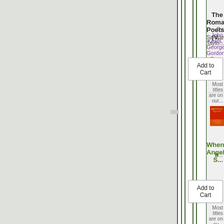[Figure (screenshot): Partial view of an online bookstore page showing two book listings. Left side shows gray background with vertical book spine lines. Right side shows book information panels.]
The Romantic Poets (V...
By John Keats, George Gordon Byr... Samuel Taylo...
Add to Cart
Most titles are on our...
[Figure (photo): Red book cover with orange floral design and gold text reading ANG... L...]
When Angels S...
B...
Add to Cart
Most titles are on ou...